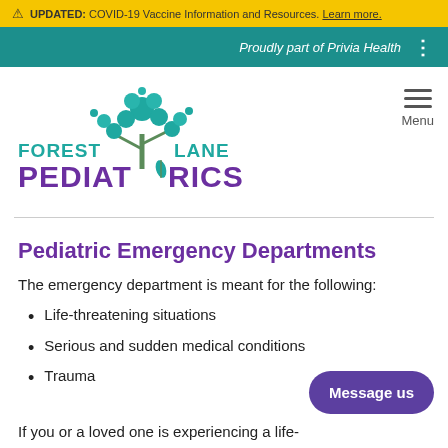⚠ UPDATED: COVID-19 Vaccine Information and Resources. Learn more.
Proudly part of Privia Health
[Figure (logo): Forest Lane Pediatrics logo with teal tree graphic and purple text]
Pediatric Emergency Departments
The emergency department is meant for the following:
Life-threatening situations
Serious and sudden medical conditions
Trauma
If you or a loved one is experiencing a life-